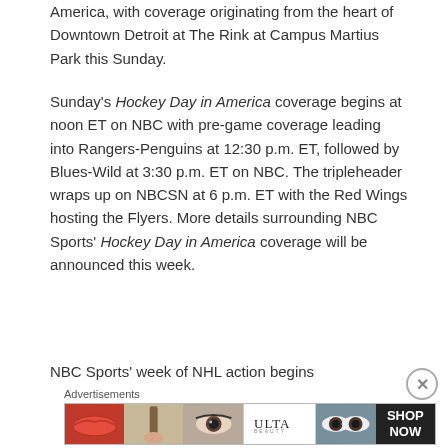America, with coverage originating from the heart of Downtown Detroit at The Rink at Campus Martius Park this Sunday.
Sunday's Hockey Day in America coverage begins at noon ET on NBC with pre-game coverage leading into Rangers-Penguins at 12:30 p.m. ET, followed by Blues-Wild at 3:30 p.m. ET on NBC. The tripleheader wraps up on NBCSN at 6 p.m. ET with the Red Wings hosting the Flyers. More details surrounding NBC Sports' Hockey Day in America coverage will be announced this week.
NBC Sports' week of NHL action begins
Advertisements
[Figure (other): Ulta Beauty advertisement banner showing makeup-related images (lips, brush, eye) alongside Ulta logo and 'SHOP NOW' call to action]